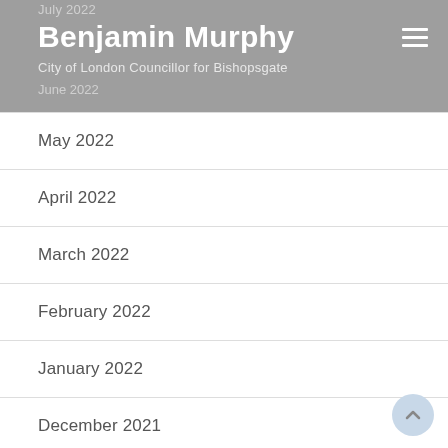July 2022 / Benjamin Murphy / City of London Councillor for Bishopsgate / June 2022
May 2022
April 2022
March 2022
February 2022
January 2022
December 2021
November 2021
October 2021